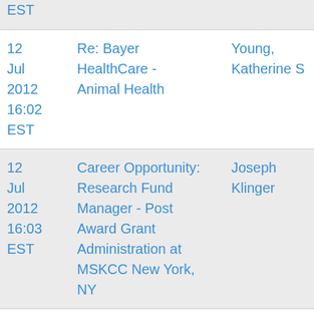| Date | Subject | Sender |
| --- | --- | --- |
| [partial] EST |  |  |
| 12 Jul 2012 16:02 EST | Re: Bayer HealthCare - Animal Health | Young, Katherine S |
| 12 Jul 2012 16:03 EST | Career Opportunity: Research Fund Manager - Post Award Grant Administration at MSKCC New York, NY | Joseph Klinger |
| 12 Jul 2012 [partial] | Re: Bayer HealthCare - Animal Health | Michael Kusiak |